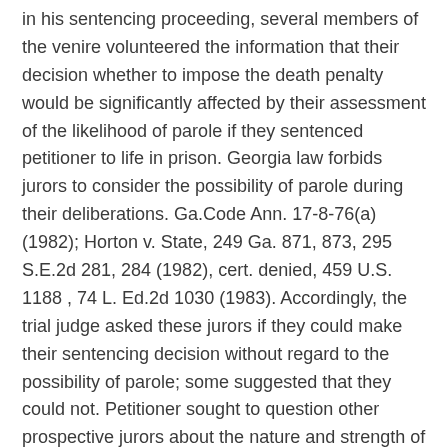in his sentencing proceeding, several members of the venire volunteered the information that their decision whether to impose the death penalty would be significantly affected by their assessment of the likelihood of parole if they sentenced petitioner to life in prison. Georgia law forbids jurors to consider the possibility of parole during their deliberations. Ga.Code Ann. 17-8-76(a) (1982); Horton v. State, 249 Ga. 871, 873, 295 S.E.2d 281, 284 (1982), cert. denied, 459 U.S. 1188 , 74 L. Ed.2d 1030 (1983). Accordingly, the trial judge asked these jurors if they could make their sentencing decision without regard to the possibility of parole; some suggested that they could not. Petitioner sought to question other prospective jurors about the nature and strength of their attitudes about parole on the ground that they, too, might be unable to set such considerations aside. The court refused to permit the questioning.
During its subsequent deliberations, the jury requested